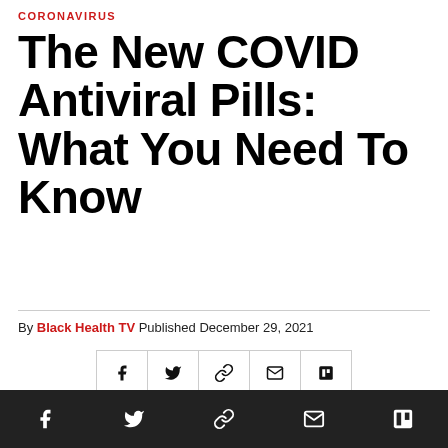CORONAVIRUS
The New COVID Antiviral Pills: What You Need To Know
By Black Health TV Published December 29, 2021
[Figure (photo): Close-up photo of white capsule pills scattered on a surface, with a red pill partially visible in the foreground]
Social share icons: Facebook, Twitter, Link, Email, Flipboard